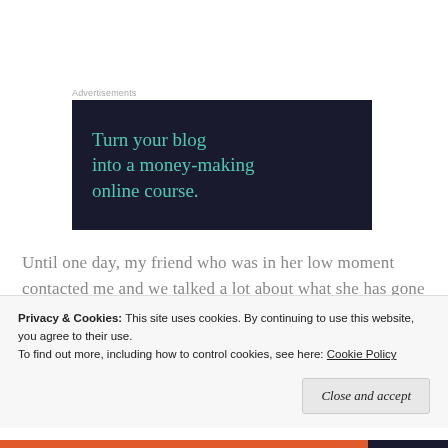Advertisements
[Figure (other): Advertisement banner with dark navy background and teal text reading: Turn your blog into a money-making online course.]
Until one day, my friend who was in her low moment contacted me and we talked a lot about what she has gone through. She was very down by that time, (I hope
Privacy & Cookies: This site uses cookies. By continuing to use this website, you agree to their use.
To find out more, including how to control cookies, see here: Cookie Policy
Close and accept